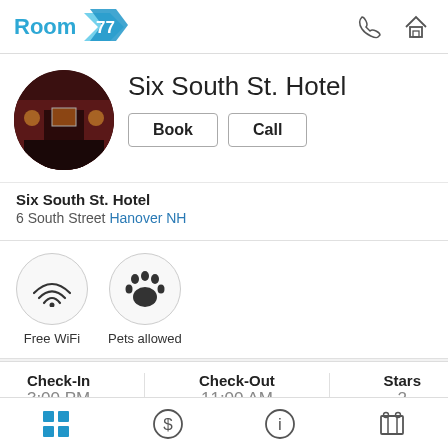Room 77
[Figure (photo): Circular hotel room photo showing a dark-toned room with red walls]
Six South St. Hotel
Book | Call
Six South St. Hotel
6 South Street Hanover NH
[Figure (infographic): Two circular amenity icons: Free WiFi and Pets allowed]
| Check-In | Check-Out | Stars |
| --- | --- | --- |
| 3:00 PM | 11:00 AM | 2 |
[Figure (infographic): Bottom navigation bar icons: grid, dollar, info, map]